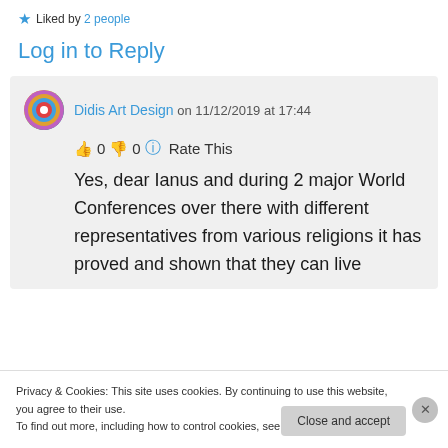★ Liked by 2 people
Log in to Reply
Didis Art Design on 11/12/2019 at 17:44
👍 0 👎 0 ℹ Rate This
Yes, dear Ianus and during 2 major World Conferences over there with different representatives from various religions it has proved and shown that they can live
Privacy & Cookies: This site uses cookies. By continuing to use this website, you agree to their use.
To find out more, including how to control cookies, see here: Cookie Policy